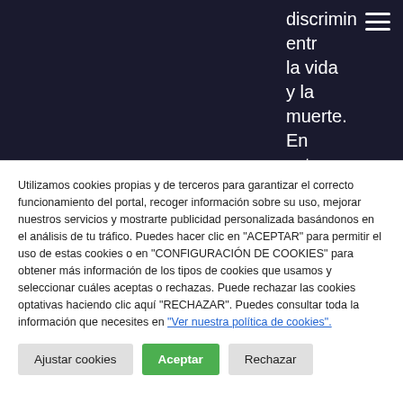[Figure (screenshot): Dark navy background website header area showing partial text: 'discrimin', 'entr', 'la vida', 'y la', 'muerte.', 'En', 'este' on the right side, with a hamburger menu icon in the top right corner.]
Utilizamos cookies propias y de terceros para garantizar el correcto funcionamiento del portal, recoger información sobre su uso, mejorar nuestros servicios y mostrarte publicidad personalizada basándonos en el análisis de tu tráfico. Puedes hacer clic en "ACEPTAR" para permitir el uso de estas cookies o en "CONFIGURACIÓN DE COOKIES" para obtener más información de los tipos de cookies que usamos y seleccionar cuáles aceptas o rechazas. Puede rechazar las cookies optativas haciendo clic aquí "RECHAZAR". Puedes consultar toda la información que necesites en "Ver nuestra política de cookies".